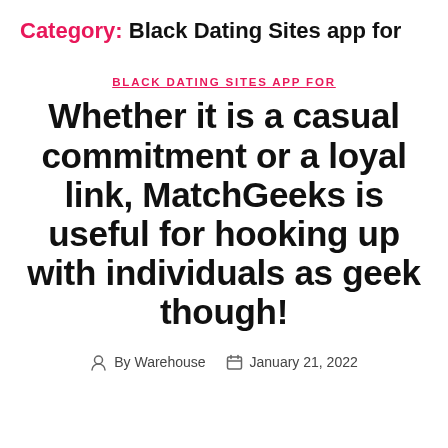Category: Black Dating Sites app for
BLACK DATING SITES APP FOR
Whether it is a casual commitment or a loyal link, MatchGeeks is useful for hooking up with individuals as geek though!
By Warehouse  January 21, 2022